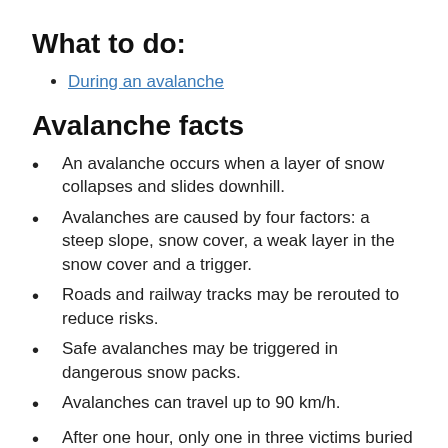What to do:
During an avalanche
Avalanche facts
An avalanche occurs when a layer of snow collapses and slides downhill.
Avalanches are caused by four factors: a steep slope, snow cover, a weak layer in the snow cover and a trigger.
Roads and railway tracks may be rerouted to reduce risks.
Safe avalanches may be triggered in dangerous snow packs.
Avalanches can travel up to 90 km/h.
After one hour, only one in three victims buried in an avalanche is found alive. The most common